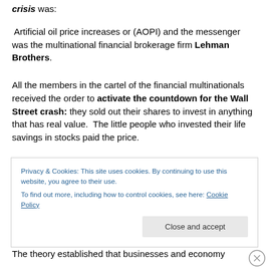crisis was:
Artificial oil price increases or (AOPI) and the messenger was the multinational financial brokerage firm Lehman Brothers.
All the members in the cartel of the financial multinationals received the order to activate the countdown for the Wall Street crash: they sold out their shares to invest in anything that has real value. The little people who invested their life savings in stocks paid the price.
Privacy & Cookies: This site uses cookies. By continuing to use this website, you agree to their use. To find out more, including how to control cookies, see here: Cookie Policy
Close and accept
The theory established that businesses and economy